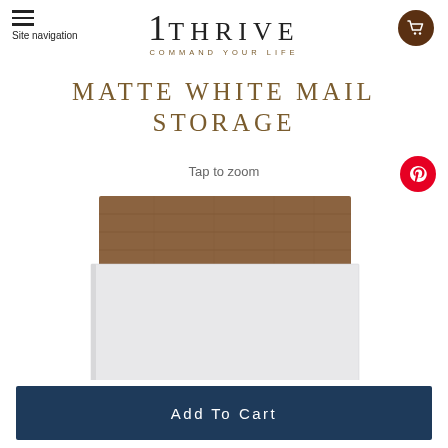1THRIVE COMMAND YOUR LIFE
MATTE WHITE MAIL STORAGE
Tap to zoom
[Figure (photo): Matte white mail storage box with a walnut wood lid, rectangular white body visible below the wood top]
Add To Cart